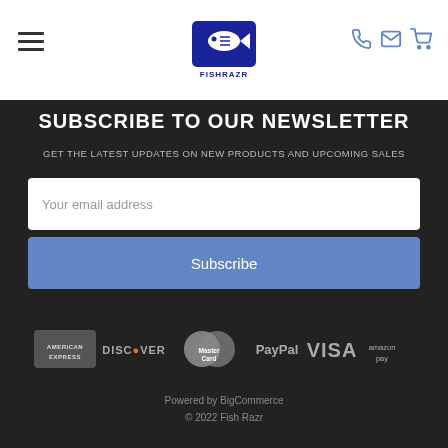FishRazr header with hamburger menu, logo, and icons
SUBSCRIBE TO OUR NEWSLETTER
GET THE LATEST UPDATES ON NEW PRODUCTS AND UPCOMING SALES
Your email address
Subscribe
[Figure (logo): Payment method logos: American Express, Discover, MasterCard, PayPal, Visa, Amazon Pay]
Powered by BigCommerce © 2022 Fish Razr